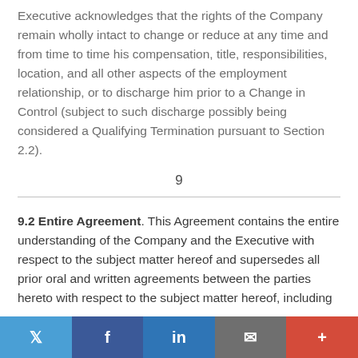Executive acknowledges that the rights of the Company remain wholly intact to change or reduce at any time and from time to time his compensation, title, responsibilities, location, and all other aspects of the employment relationship, or to discharge him prior to a Change in Control (subject to such discharge possibly being considered a Qualifying Termination pursuant to Section 2.2).
9
9.2 Entire Agreement. This Agreement contains the entire understanding of the Company and the Executive with respect to the subject matter hereof and supersedes all prior oral and written agreements between the parties hereto with respect to the subject matter hereof, including